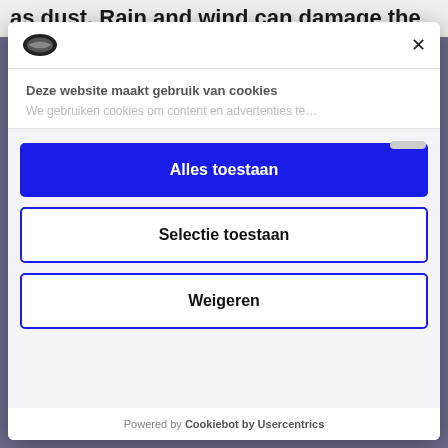as dust. Rain and wind can damage the
[Figure (screenshot): Cookie consent modal dialog with Cookiebot logo, close button, title 'Deze website maakt gebruik van cookies', description text, three buttons: 'Alles toestaan', 'Selectie toestaan', 'Weigeren', and footer 'Powered by Cookiebot by Usercentrics']
Deze website maakt gebruik van cookies
We gebruiken cookies om content en advertenties te...
Alles toestaan
Selectie toestaan
Weigeren
Powered by Cookiebot by Usercentrics